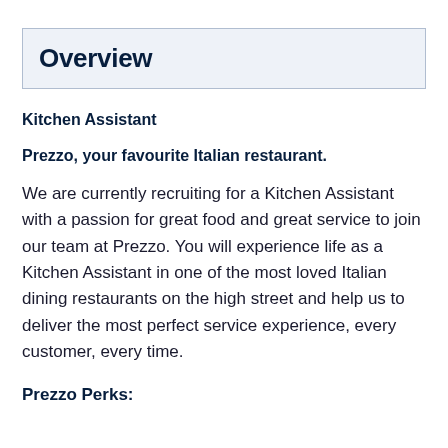Overview
Kitchen Assistant
Prezzo, your favourite Italian restaurant.
We are currently recruiting for a Kitchen Assistant with a passion for great food and great service to join our team at Prezzo. You will experience life as a Kitchen Assistant in one of the most loved Italian dining restaurants on the high street and help us to deliver the most perfect service experience, every customer, every time.
Prezzo Perks: